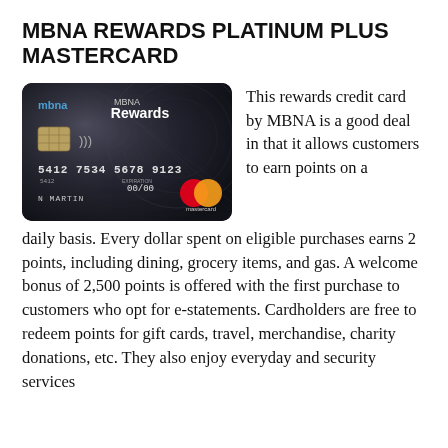MBNA REWARDS PLATINUM PLUS MASTERCARD
[Figure (photo): MBNA Rewards Platinum Plus Mastercard credit card image showing card number 5412 7534 5678 9123, cardholder name N MARTIN, expiration 00/00, with Mastercard logo]
This rewards credit card by MBNA is a good deal in that it allows customers to earn points on a daily basis. Every dollar spent on eligible purchases earns 2 points, including dining, grocery items, and gas. A welcome bonus of 2,500 points is offered with the first purchase to customers who opt for e-statements. Cardholders are free to redeem points for gift cards, travel, merchandise, charity donations, etc. They also enjoy everyday and security services and products that come as extras at no extra, meaning no extra